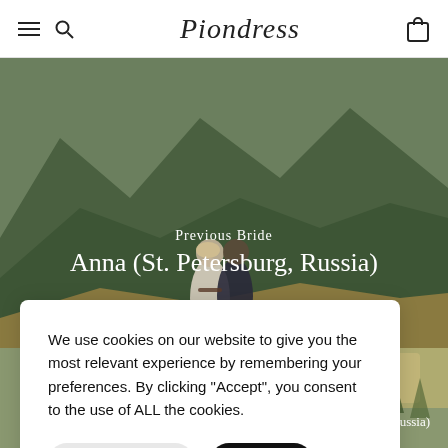Piondress
[Figure (photo): Wedding couple seen from behind standing in mountainous landscape with green hills in background. Bride in white lace dress, groom in dark suit.]
Previous Bride
Anna (St. Petersburg, Russia)
[Figure (photo): Partial view of a second wedding photo showing buildings and greenery, partially obscured by cookie consent overlay.]
We use cookies on our website to give you the most relevant experience by remembering your preferences. By clicking “Accept”, you consent to the use of ALL the cookies.
Cookie Settings
Accept
ussia)